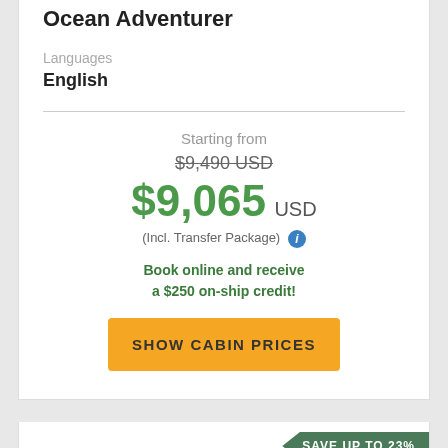Ocean Adventurer
Languages
English
Starting from
$9,490 USD (strikethrough)
$9,065 USD
(Incl. Transfer Package)
Book online and receive a $250 on-ship credit!
SHOW CABIN PRICES
SAVE UP TO 23%